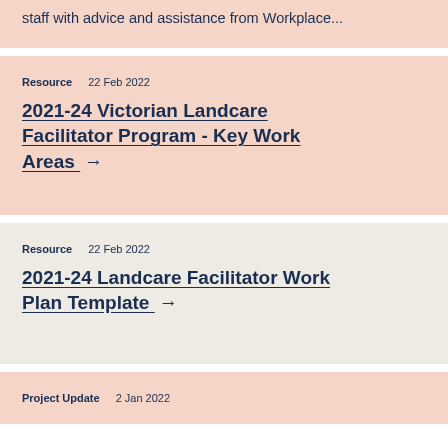staff with advice and assistance from Workplace...
Resource   22 Feb 2022
2021-24 Victorian Landcare Facilitator Program - Key Work Areas →
Resource   22 Feb 2022
2021-24 Landcare Facilitator Work Plan Template →
Project Update   2 Jan 2022